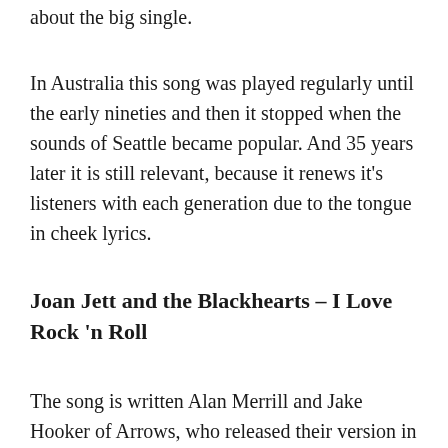about the big single.
In Australia this song was played regularly until the early nineties and then it stopped when the sounds of Seattle became popular. And 35 years later it is still relevant, because it renews it’s listeners with each generation due to the tongue in cheek lyrics.
Joan Jett and the Blackhearts – I Love Rock ‘n Roll
The song is written Alan Merrill and Jake Hooker of Arrows, who released their version in 1975. And